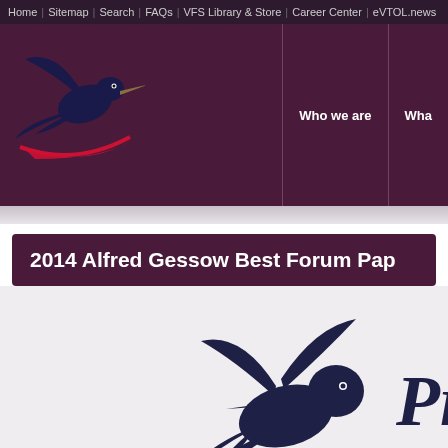Home | Sitemap | Search | FAQs | VFS Library & Store | Career Center | eVTOL.news
[Figure (logo): VFS hummingbird logo with red swoosh, dark background header with 'Who we are' and 'Wha...' navigation links]
2014 Alfred Gessow Best Forum Pap...
[Figure (logo): Large dark hummingbird silhouette with italic 'Pr' text partially visible, on light background]